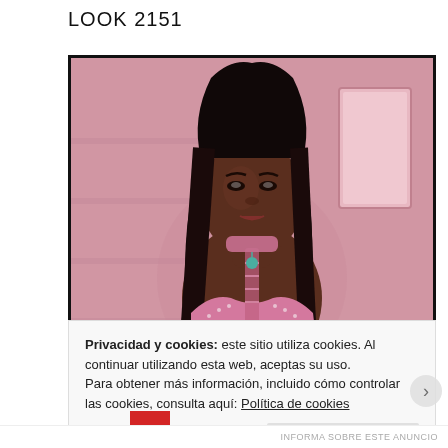LOOK 2151
[Figure (photo): Screenshot of a virtual avatar - a dark-skinned female figure with long straight black hair, wearing a pink crop top/bra with lace-up detailing, teal earrings and pendant necklace, posed against a pink futuristic background with a rectangular alcove visible in the upper right.]
Privacidad y cookies: este sitio utiliza cookies. Al continuar utilizando esta web, aceptas su uso.
Para obtener más información, incluido cómo controlar las cookies, consulta aquí: Política de cookies
Cerrar y aceptar